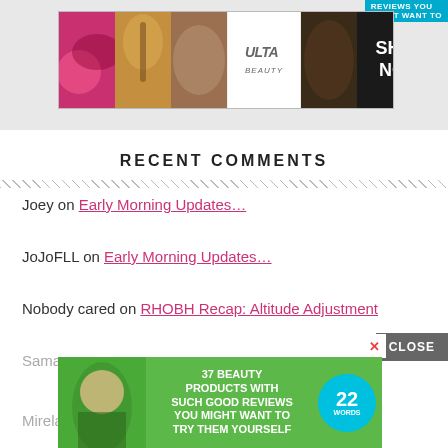[Figure (screenshot): Ulta Beauty advertisement banner showing makeup product images and 'SHOP NOW' call to action]
RECENT COMMENTS
Joey on Early Morning Updates…
JoJoFLL on Early Morning Updates…
Nobody cared on RHOBH Recap: Altitude Adjustment
Sama[...] on [obscured]
Mirela[...] on [obscured]
[Figure (screenshot): Popup advertisement: '37 Beauty Products With Such Good Reviews You Might Want To Try Them Yourself' with a woman's photo and a teal badge showing '22 WORDS'. Close button visible.]